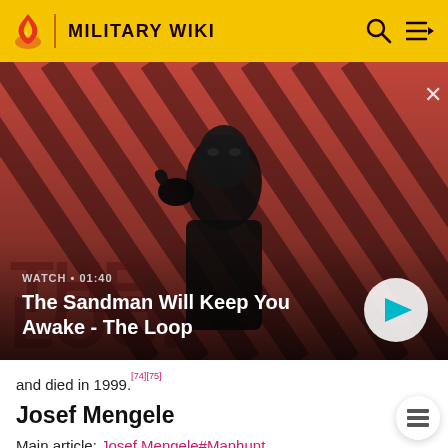MILITARY WIKI
[Figure (screenshot): Video thumbnail showing a dark figure with a raven on their shoulder against a red and dark striped background. Video title: 'The Sandman Will Keep You Awake - The Loop'. Watch time: 01:40. Play button visible bottom right.]
and died in 1999.[74][75]
Josef Mengele
Main article: Josef Mengele#Manhunt
Josef Mengele was a medical officer assigned to